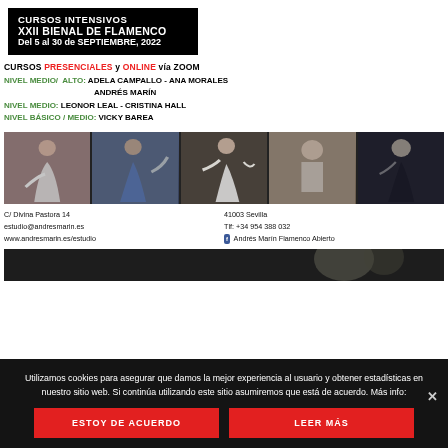CURSOS INTENSIVOS XXII BIENAL DE FLAMENCO Del 5 al 30 de SEPTIEMBRE, 2022
CURSOS PRESENCIALES y ONLINE vía ZOOM
NIVEL MEDIO/ ALTO: ADELA CAMPALLO - ANA MORALES ANDRÉS MARÍN
NIVEL MEDIO: LEONOR LEAL - CRISTINA HALL
NIVEL BÁSICO / MEDIO: VICKY BAREA
[Figure (photo): Five flamenco dancers in performance photos shown side by side in a horizontal strip]
C/ Divina Pastora 14
estudio@andresmarin.es
www.andresmarin.es/estudio

41003 Sevilla
Tlf: +34 954 388 032
Andrés Marín Flamenco Abierto
[Figure (photo): Partial photo of a flamenco performer, partially obscured by cookie overlay]
Utilizamos cookies para asegurar que damos la mejor experiencia al usuario y obtener estadísticas en nuestro sitio web. Si continúa utilizando este sitio asumiremos que está de acuerdo. Más info:
ESTOY DE ACUERDO
LEER MÁS